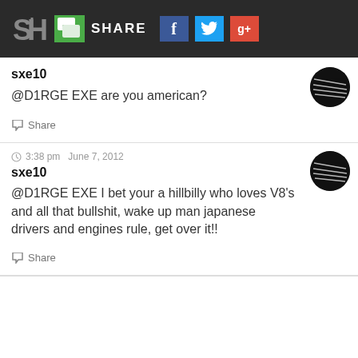SH | SHARE | Facebook | Twitter | Google+
sxe10
@D1RGE EXE are you american?
Share
3:38 pm  June 7, 2012
sxe10
@D1RGE EXE I bet your a hillbilly who loves V8's and all that bullshit, wake up man japanese drivers and engines rule, get over it!!
Share